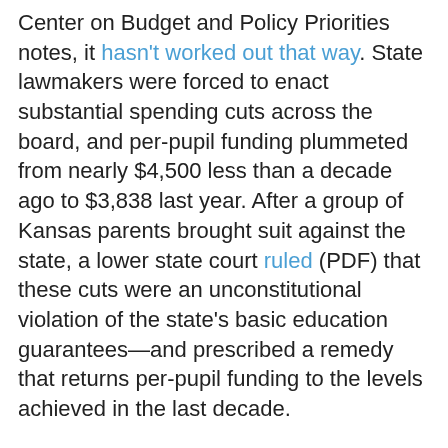Center on Budget and Policy Priorities notes, it hasn't worked out that way. State lawmakers were forced to enact substantial spending cuts across the board, and per-pupil funding plummeted from nearly $4,500 less than a decade ago to $3,838 last year. After a group of Kansas parents brought suit against the state, a lower state court ruled (PDF) that these cuts were an unconstitutional violation of the state's basic education guarantees—and prescribed a remedy that returns per-pupil funding to the levels achieved in the last decade.
In response to the court's finding (which is now being reviewed by the state Supreme Court), policymakers in the Brownback administration have argued that the court's mandate for more school spending prevents them from adjusting spending levels to reflect economic downturns. As the state's solicitor general argued last year, "The Legislature has to deal with the real world...the constitution shouldn't be a suicide pact." But this argument is ludicrous: as the court sensibly pointed out in its ruling, state lawmakers gutted education spending at